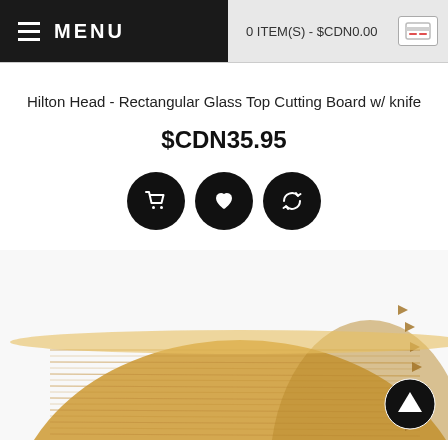MENU  |  0 ITEM(S) - $CDN0.00
Hilton Head - Rectangular Glass Top Cutting Board w/ knife
$CDN35.95
[Figure (screenshot): Three circular black action buttons: shopping cart, heart/wishlist, and refresh/compare icons]
[Figure (photo): Close-up photo of a round bamboo cutting board with decorative chevron edge pattern, light wood grain texture]
[Figure (other): Scroll-to-top circular button with upward arrow]